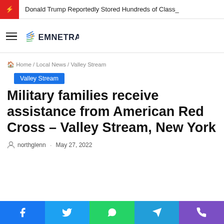Donald Trump Reportedly Stored Hundreds of Class_
[Figure (logo): Emnetra news website logo with wing/lightning bolt icon and bold blue/dark text EMNETRA]
Home / Local News / Valley Stream
Valley Stream
Military families receive assistance from American Red Cross – Valley Stream, New York
northglenn · May 27, 2022